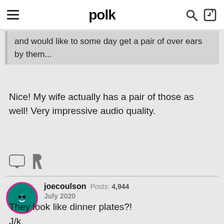polk
and would like to some day get a pair of over ears by them...
Nice! My wife actually has a pair of those as well! Very impressive audio quality.
joecoulson  Posts: 4,944  July 2020
They look like dinner plates?!
J/k